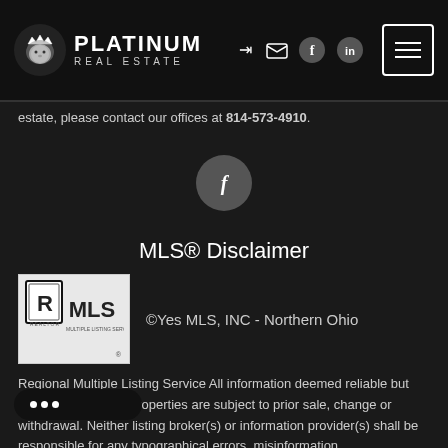[Figure (logo): Platinum Real Estate logo with lion icon on dark header bar]
estate, please contact our offices at 814-573-4910.
[Figure (illustration): Facebook circular icon button]
MLS® Disclaimer
[Figure (logo): REALTOR MLS Multiple Listing Service logo]
©Yes MLS, INC - Northern Ohio
Regional Multiple Listing Service All information deemed reliable but not guaranteed. All properties are subject to prior sale, change or withdrawal. Neither listing broker(s) or information provider(s) shall be responsible for any typographical errors, misinformation,